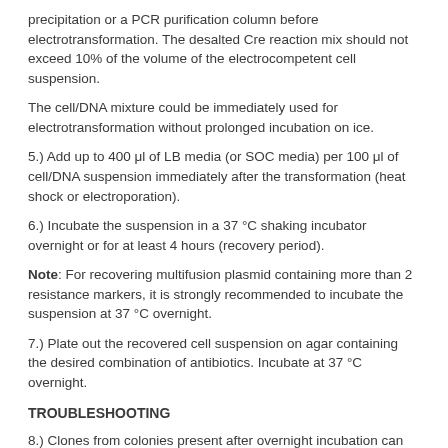precipitation or a PCR purification column before electrotransformation. The desalted Cre reaction mix should not exceed 10% of the volume of the electrocompetent cell suspension.
The cell/DNA mixture could be immediately used for electrotransformation without prolonged incubation on ice.
5.) Add up to 400 μl of LB media (or SOC media) per 100 μl of cell/DNA suspension immediately after the transformation (heat shock or electroporation).
6.) Incubate the suspension in a 37 °C shaking incubator overnight or for at least 4 hours (recovery period).
Note: For recovering multifusion plasmid containing more than 2 resistance markers, it is strongly recommended to incubate the suspension at 37 °C overnight.
7.) Plate out the recovered cell suspension on agar containing the desired combination of antibiotics. Incubate at 37 °C overnight.
TROUBLESHOOTING
8.) Clones from colonies present after overnight incubation can be verified by restriction digestion at this stage (refer to steps 12-16).
Note: Verification is recommended especially in the case that only one multifusion plasmid is desired.